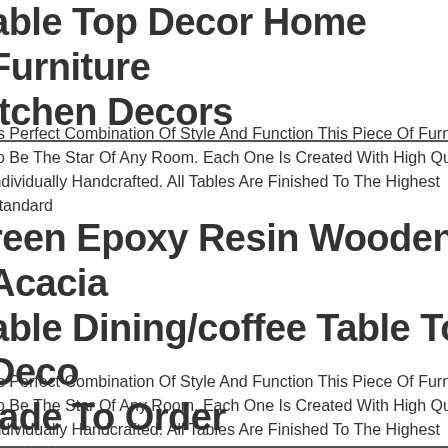able Top Decor Home Furniture itchen Decors
Its Perfect Combination Of Style And Function This Piece Of Furniture Is To Be The Star Of Any Room. Each One Is Created With High Quality R Individually Handcrafted. All Tables Are Finished To The Highest Standard
reen Epoxy Resin Wooden Acacia able Dining/coffee Table Top Deco lade To Order
Its Perfect Combination Of Style And Function This Piece Of Furniture Is To Be The Star Of Any Room. Each One Is Created With High Quality R Individually Handcrafted. All Tables Are Finished To The Highest Standard